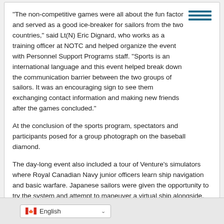“The non-competitive games were all about the fun factor and served as a good ice-breaker for sailors from the two countries,” said Lt(N) Eric Dignard, who works as a training officer at NOTC and helped organize the event with Personnel Support Programs staff. “Sports is an international language and this event helped break down the communication barrier between the two groups of sailors. It was an encouraging sign to see them exchanging contact information and making new friends after the games concluded.”
At the conclusion of the sports program, spectators and participants posed for a group photograph on the baseball diamond.
The day-long event also included a tour of Venture’s simulators where Royal Canadian Navy junior officers learn ship navigation and basic warfare. Japanese sailors were given the opportunity to try the system and attempt to maneuver a virtual ship alongside. Venture staff also briefed the Japanese sailors on the daily life of an officer trainee, the equipment, and facilities used to assist during their training.
Share
Filed Under: Top Stories
English